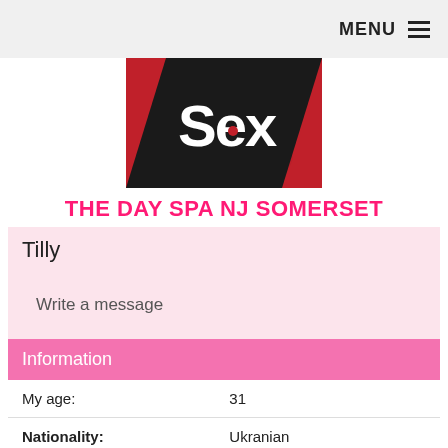MENU ☰
[Figure (logo): Red, black and grey geometric logo with stylized 'Sex' text in white]
THE DAY SPA NJ SOMERSET
Tilly
Write a message
Information
| Label | Value |
| --- | --- |
| My age: | 31 |
| Nationality: | Ukranian |